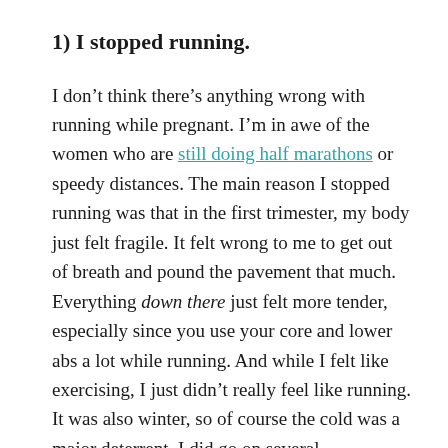1) I stopped running.
I don't think there's anything wrong with running while pregnant. I'm in awe of the women who are still doing half marathons or speedy distances. The main reason I stopped running was that in the first trimester, my body just felt fragile. It felt wrong to me to get out of breath and pound the pavement that much. Everything down there just felt more tender, especially since you use your core and lower abs a lot while running. And while I felt like exercising, I just didn't really feel like running. It was also winter, so of course the cold was a major deterrent. I did go on several